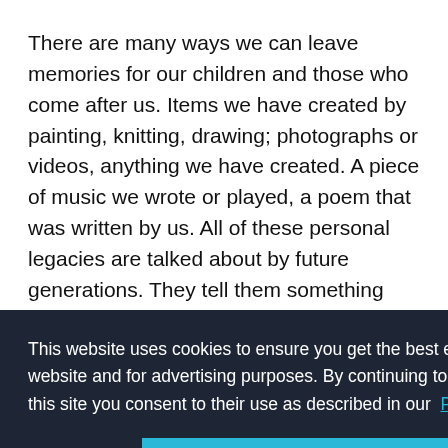There are many ways we can leave memories for our children and those who come after us. Items we have created by painting, knitting, drawing; photographs or videos, anything we have created. A piece of music we wrote or played, a poem that was written by us. All of these personal legacies are talked about by future generations. They tell them something about the way we lived and our
[Figure (screenshot): Cookie consent banner overlay with dark background. Text reads: 'This website uses cookies to ensure you get the best experience on our website and for advertising purposes. By continuing to use (click or scroll) this site you consent to their use as described in our Privacy Policy'. Two buttons: 'Decline' and 'Allow'.]
succeeded. ~ Ralph Waldo Emerson